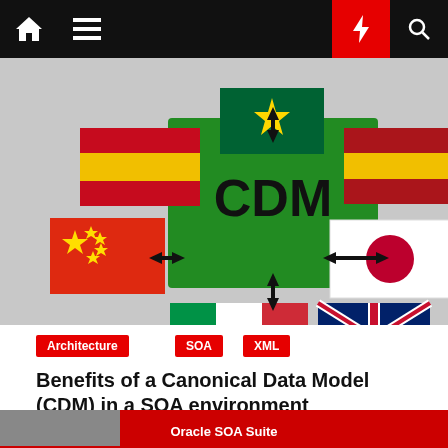Navigation bar with home, menu, bolt, search icons
[Figure (illustration): CDM (Canonical Data Model) diagram showing a green diamond shape with 'CDM' text in center, surrounded by international flags (Spain, Mauritania, China, Italy, France/UK flag, Japan) connected by arrows pointing to/from the CDM in the center, on a gray background]
Architecture
SOA
XML
Benefits of a Canonical Data Model (CDM) in a SOA environment
Emiel Paasschens  August 8, 2016  10
[Figure (screenshot): Partial view of Oracle SOA Suite logo/banner at the bottom of the page]